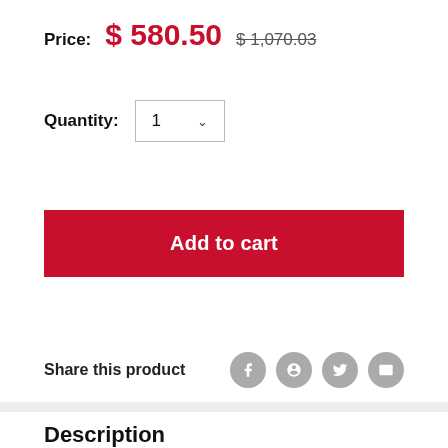Price: $ 580.50  $1,070.03
Quantity: 1
Add to cart
Share this product
Description
Continental 64G-14M-68-3535 TL SPROCKET